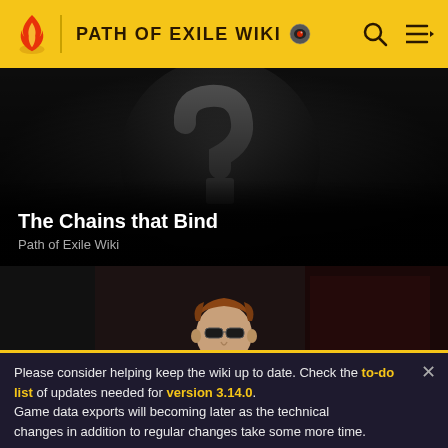PATH OF EXILE WIKI
[Figure (screenshot): Dark card with large grey question mark on dark background. Bottom overlay shows title 'The Chains that Bind' and subtitle 'Path of Exile Wiki']
The Chains that Bind
Path of Exile Wiki
[Figure (screenshot): Dark illustrated scene showing a male character with auburn hair and sunglasses, wearing a grey jacket, against a dark red-brown background wall.]
Please consider helping keep the wiki up to date. Check the to-do list of updates needed for version 3.14.0. Game data exports will becoming later as the technical changes in addition to regular changes take some more time.